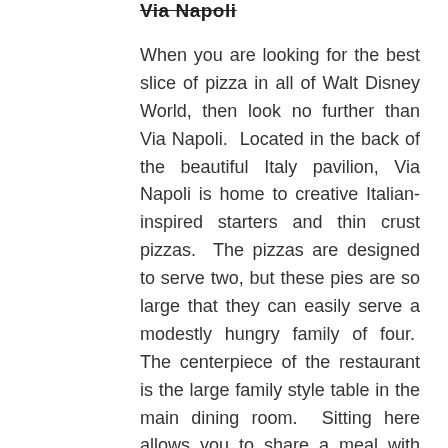Via Napoli
When you are looking for the best slice of pizza in all of Walt Disney World, then look no further than Via Napoli.  Located in the back of the beautiful Italy pavilion, Via Napoli is home to creative Italian-inspired starters and thin crust pizzas.  The pizzas are designed to serve two, but these pies are so large that they can easily serve a modestly hungry family of four.  The centerpiece of the restaurant is the large family style table in the main dining room.  Sitting here allows you to share a meal with other guests, as well as experience the fun of the open kitchen where you can watch the chefs